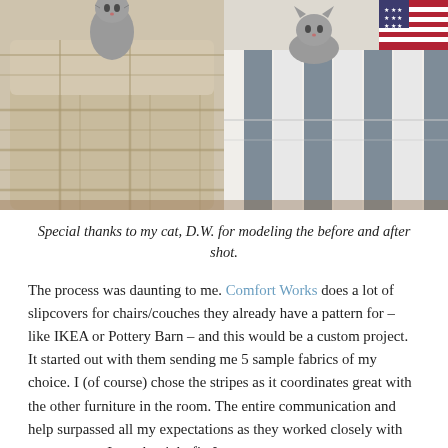[Figure (photo): Two side-by-side photos of a cat named D.W. on a chair/sofa. Left photo shows the cat sitting on a beige/tan plaid upholstered chair (before). Right photo shows the cat on the same chair now covered with a blue and white striped slipcover with an American flag pillow visible (after).]
Special thanks to my cat, D.W. for modeling the before and after shot.
The process was daunting to me. Comfort Works does a lot of slipcovers for chairs/couches they already have a pattern for – like IKEA or Pottery Barn – and this would be a custom project. It started out with them sending me 5 sample fabrics of my choice. I (of course) chose the stripes as it coordinates great with the other furniture in the room. The entire communication and help surpassed all my expectations as they worked closely with me to ensure I got the right fit. I sent